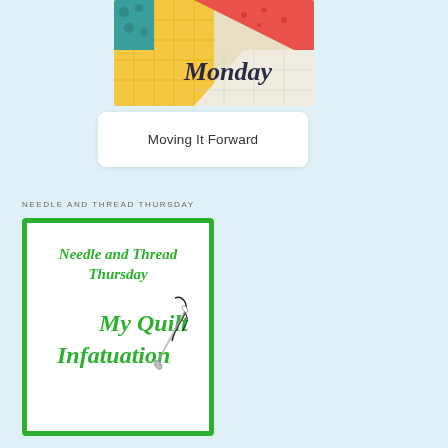[Figure (photo): Photo of colorful quilting fabrics with text 'Monday' overlaid in dark italic script]
Moving It Forward
NEEDLE AND THREAD THURSDAY
[Figure (logo): Logo for 'My Quilt Infatuation' blog with text 'Needle and Thread Thursday' and 'My Quilt Infatuation' in green italic script, with a needle and thread illustration, all inside a green bordered box]